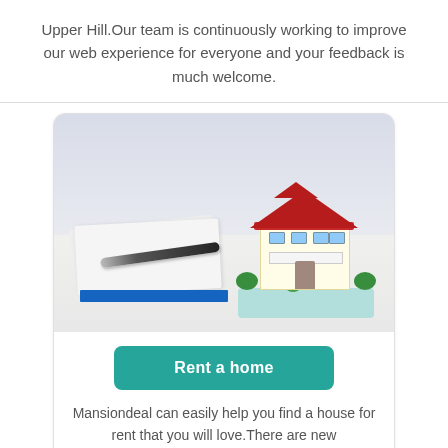Upper Hill.Our team is continuously working to improve our web experience for everyone and your feedback is much welcome.
[Figure (photo): A real estate themed photo showing a notebook with a pen on the left and a miniature house model with red roof on the right, on a light grey/white surface.]
Rent a home
Mansiondeal can easily help you find a house for rent that you will love.There are new